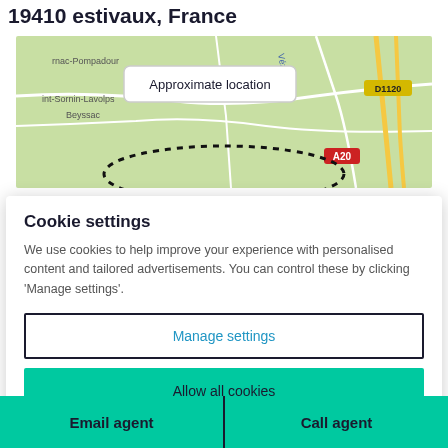19410 estivaux, France
[Figure (map): Map showing approximate location near Vigeois, Beyssac, Arnac-Pompadour area in France, with dotted circle indicating approximate location, roads including D1120 and A20]
Cookie settings
We use cookies to help improve your experience with personalised content and tailored advertisements. You can control these by clicking 'Manage settings'.
Manage settings
Allow all cookies
Email agent
Call agent